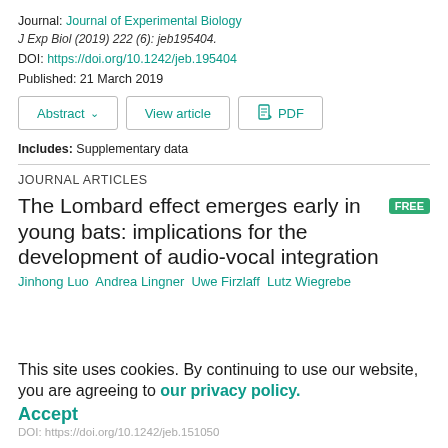Journal: Journal of Experimental Biology
J Exp Biol (2019) 222 (6): jeb195404.
DOI: https://doi.org/10.1242/jeb.195404
Published: 21 March 2019
Abstract  View article  PDF
Includes: Supplementary data
JOURNAL ARTICLES
The Lombard effect emerges early in young bats: implications for the development of audio-vocal integration
Jinhong Luo  Andrea Lingner  Uwe Firzlaff  Lutz Wiegrebe
This site uses cookies. By continuing to use our website, you are agreeing to our privacy policy. Accept
DOI: https://doi.org/10.1242/jeb.151050